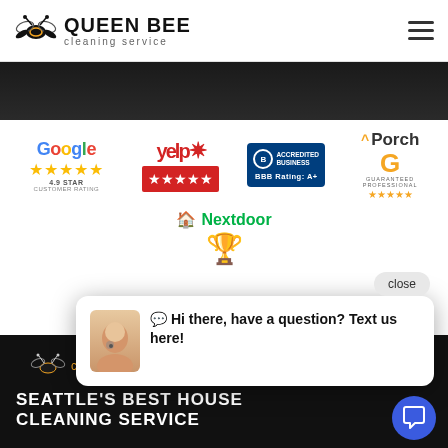[Figure (logo): Queen Bee Cleaning Service logo with bee icon and company name]
[Figure (infographic): Review badges: Google 4.9 star, Yelp 5 stars, BBB Accredited Business Rating A+, Porch Guaranteed Professional 5 stars, Nextdoor badge with trophy]
[Figure (screenshot): Chat popup: Hi there, have a question? Text us here! with close button and blue chat icon]
SEATTLE'S BEST HOUSE CLEANING SERVICE